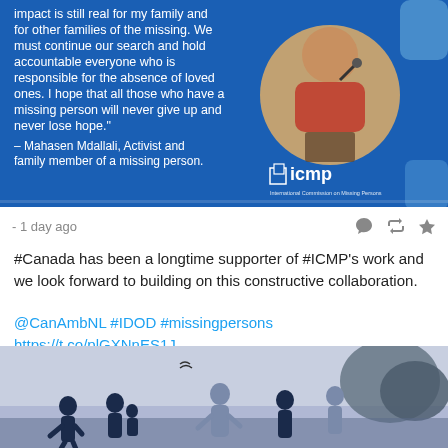[Figure (photo): Blue ICMP quote card with a woman in red jacket and hijab speaking at a podium. Quote reads: 'impact is still real for my family and for other families of the missing. We must continue our search and hold accountable everyone who is responsible for the absence of loved ones. I hope that all those who have a missing person will never give up and never lose hope.' - Mahasen Mdallali, Activist and family member of a missing person. ICMP logo in bottom right.]
- 1 day ago
#Canada has been a longtime supporter of #ICMP's work and we look forward to building on this constructive collaboration.
@CanAmbNL #IDOD #missingpersons https://t.co/plGXNnES1J
[Figure (illustration): Illustrated image with silhouettes of people (family group) in dark navy against a muted purple/grey sky background with a bird and tree silhouette.]